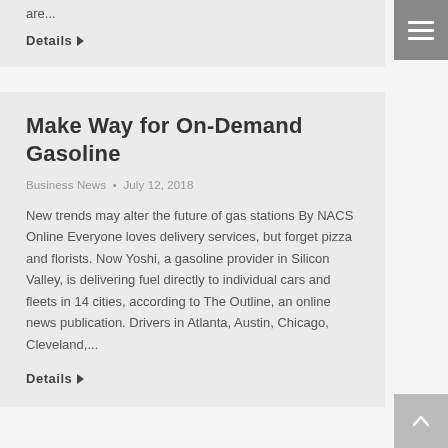are...
Details ▶
Make Way for On-Demand Gasoline
Business News • July 12, 2018
New trends may alter the future of gas stations By NACS Online Everyone loves delivery services, but forget pizza and florists. Now Yoshi, a gasoline provider in Silicon Valley, is delivering fuel directly to individual cars and fleets in 14 cities, according to The Outline, an online news publication. Drivers in Atlanta, Austin, Chicago, Cleveland,...
Details ▶